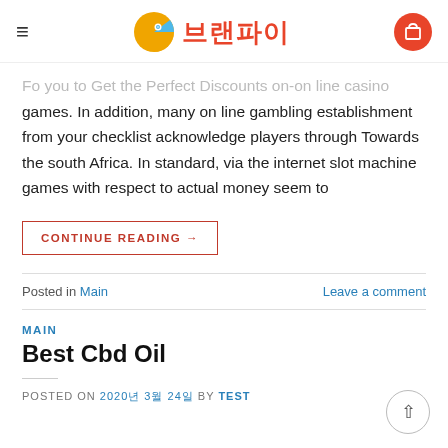≡ 브랜파이 [cart icon]
Fo you to Get the Perfect Discounts on-on line casino games. In addition, many on line gambling establishment from your checklist acknowledge players through Towards the south Africa. In standard, via the internet slot machine games with respect to actual money seem to
CONTINUE READING →
Posted in Main    Leave a comment
MAIN
Best Cbd Oil
POSTED ON 2020년 3월 24일 BY TEST